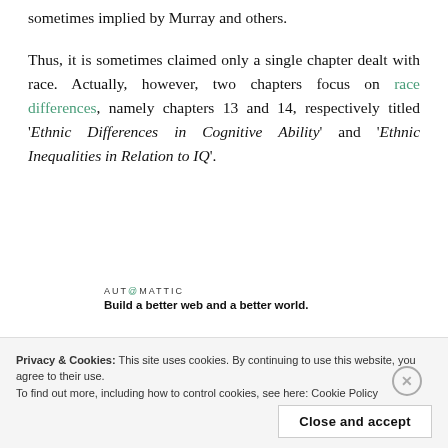sometimes implied by Murray and others.
Thus, it is sometimes claimed only a single chapter dealt with race. Actually, however, two chapters focus on race differences, namely chapters 13 and 14, respectively titled 'Ethnic Differences in Cognitive Ability' and 'Ethnic Inequalities in Relation to IQ'.
[Figure (other): Automattic advertisement: 'Build a better web and a better world.']
REPORT THIS AD
In addition, a further two chapters, namely
Privacy & Cookies: This site uses cookies. By continuing to use this website, you agree to their use. To find out more, including how to control cookies, see here: Cookie Policy
Close and accept